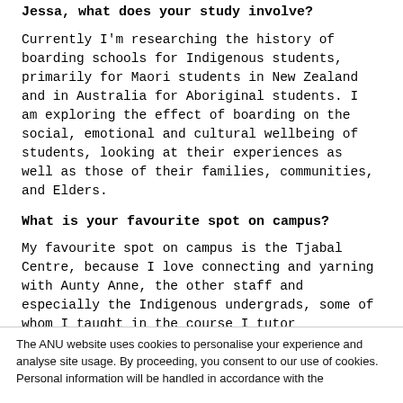Jessa, what does your study involve?
Currently I'm researching the history of boarding schools for Indigenous students, primarily for Maori students in New Zealand and in Australia for Aboriginal students. I am exploring the effect of boarding on the social, emotional and cultural wellbeing of students, looking at their experiences as well as those of their families, communities, and Elders.
What is your favourite spot on campus?
My favourite spot on campus is the Tjabal Centre, because I love connecting and yarning with Aunty Anne, the other staff and especially the Indigenous undergrads, some of whom I taught in the course I tutor
The ANU website uses cookies to personalise your experience and analyse site usage. By proceeding, you consent to our use of cookies. Personal information will be handled in accordance with the